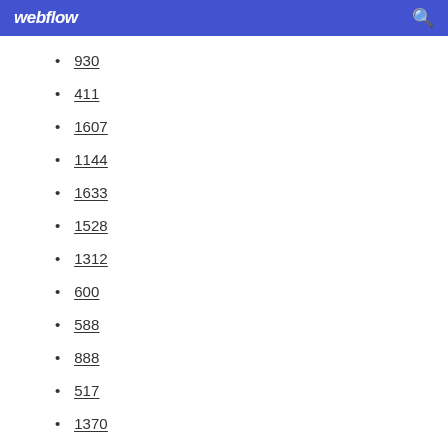webflow
930
411
1607
1144
1633
1528
1312
600
588
888
517
1370